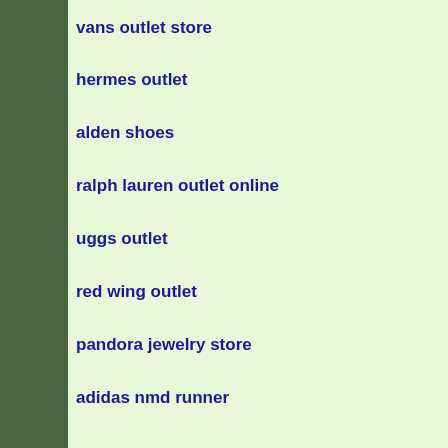vans outlet store
hermes outlet
alden shoes
ralph lauren outlet online
uggs outlet
red wing outlet
pandora jewelry store
adidas nmd runner